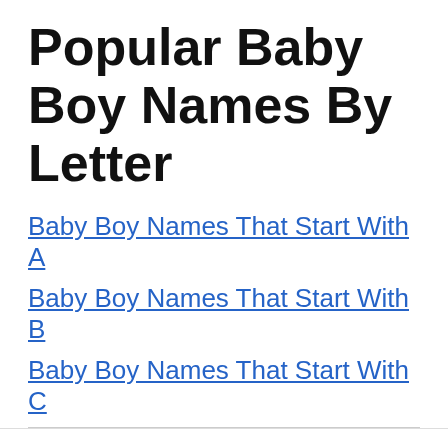Popular Baby Boy Names By Letter
Baby Boy Names That Start With A
Baby Boy Names That Start With B
Baby Boy Names That Start With C
We use cookies on our website to give you the most relevant experience by remembering your preferences and repeat visits. By clicking “Accept”, you consent to the use of ALL the cookies. Do not sell my personal information.
Cookie Settings | Accept